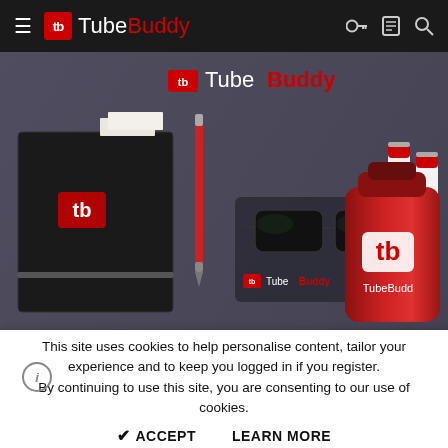TubeBuddy
[Figure (photo): TubeBuddy branded merchandise laid out on a dark t-shirt: a black notebook with red TubeBuddy logo and a red pen, black sunglasses with a TubeBuddy branded cloth, two white product tubes, and a red metal water bottle with TubeBuddy logo. A TubeBuddy t-shirt with logo is visible in the background.]
This site uses cookies to help personalise content, tailor your experience and to keep you logged in if you register.
By continuing to use this site, you are consenting to our use of cookies.
✔ ACCEPT   LEARN MORE